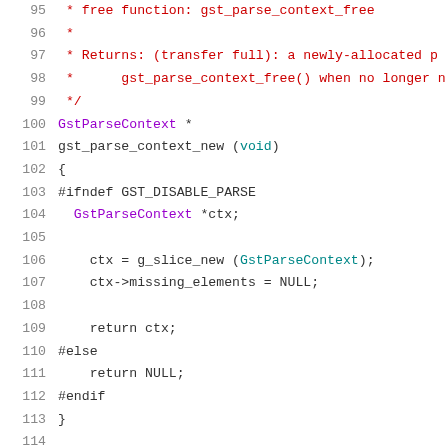[Figure (screenshot): Source code listing in C, showing lines 95-116 of a GStreamer parse context implementation. Lines shown with syntax highlighting: comments in red, types and keywords in purple, identifiers in dark, preprocessor directives in dark.]